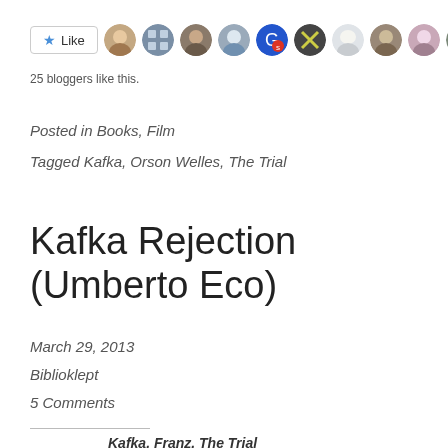[Figure (other): Like button with star icon followed by a row of 10 circular blogger avatar photos]
25 bloggers like this.
Posted in Books, Film
Tagged Kafka, Orson Welles, The Trial
Kafka Rejection (Umberto Eco)
March 29, 2013
Biblioklept
5 Comments
Kafka, Franz. The Trial